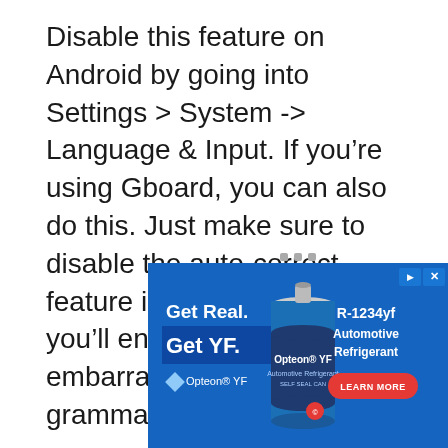Disable this feature on Android by going into Settings > System -> Language & Input. If you're using Gboard, you can also do this. Just make sure to disable the auto-correct feature in Gboard. Otherwise, you'll end up with embarrassing typos and bad grammar.
[Figure (other): Advertisement banner for Opteon YF Automotive Refrigerant featuring a can of the product with text 'Get Real. Get YF.' on a blue background and a 'Learn More' button.]